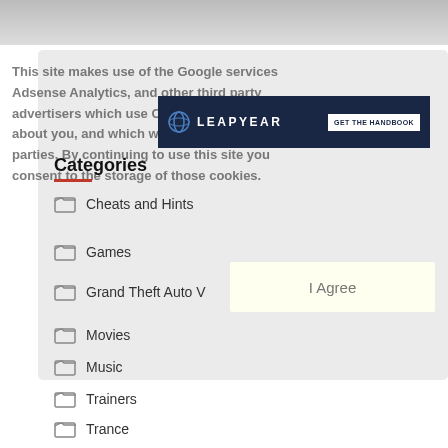[Figure (screenshot): Partial screenshot of a website with cookie consent overlay and sidebar widget showing categories list. A Leapyear advertisement banner is visible. Categories listed: Cheats and Hints, Games, Grand Theft Auto V, Movies, Music, Trainers, Trance.]
This site makes use of the Google services Adsense Analytics, and other third party advertisers which use Cookies to collect data about you, and which will be shared with third parties. By continuing to use this site you consent to the storage of those cookies.
Categories
Cheats and Hints
Games
Grand Theft Auto V
Movies
Music
Trainers
Trance
I Agree